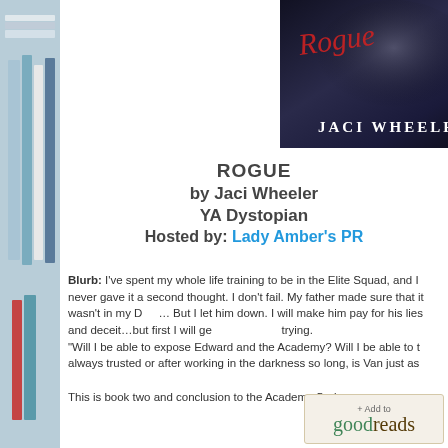[Figure (photo): Stack of books with colorful spines on left side of page]
[Figure (photo): Book cover for ROGUE Book Two by Jaci Wheeler - dark background with red script title and author name in white serif letters]
ROGUE
by Jaci Wheeler
YA Dystopian
Hosted by: Lady Amber's PR
Blurb: I've spent my whole life training to be in the Elite Squad, and I never gave it a second thought. I don't fail. My father made sure that it wasn't in my DNA. But I let him down. I will make him pay for his lies and deceit…but first I will get through this if it kills me trying.
"Will I be able to expose Edward and the Academy? Will I be able to trust the man I've always trusted or after working in the darkness so long, is Van just as corrupt as the rest?"
This is book two and conclusion to the Academy Series.
[Figure (other): + Add to goodreads button]